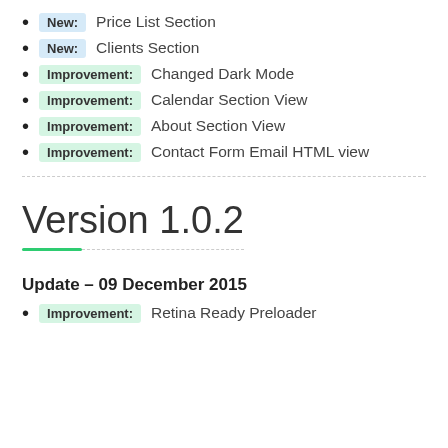New: Price List Section
New: Clients Section
Improvement: Changed Dark Mode
Improvement: Calendar Section View
Improvement: About Section View
Improvement: Contact Form Email HTML view
Version 1.0.2
Update – 09 December 2015
Improvement: Retina Ready Preloader